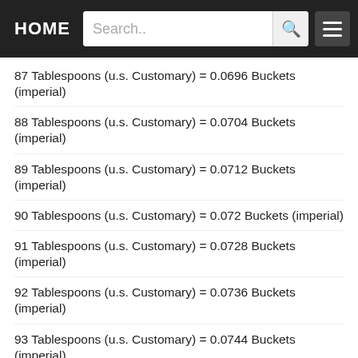HOME | Search..
87 Tablespoons (u.s. Customary) = 0.0696 Buckets (imperial)
88 Tablespoons (u.s. Customary) = 0.0704 Buckets (imperial)
89 Tablespoons (u.s. Customary) = 0.0712 Buckets (imperial)
90 Tablespoons (u.s. Customary) = 0.072 Buckets (imperial)
91 Tablespoons (u.s. Customary) = 0.0728 Buckets (imperial)
92 Tablespoons (u.s. Customary) = 0.0736 Buckets (imperial)
93 Tablespoons (u.s. Customary) = 0.0744 Buckets (imperial)
94 Tablespoons (u.s. Customary) = 0.0752 Buckets (imperial)
95 Tablespoons (u.s. Customary) = 0.076 Buckets (imperial)
96 Tablespoons (u.s. Customary) = 0.0768 Buckets (imperial)
97 Tablespoons (u.s. Customary) = 0.0776 Buckets (imperial)